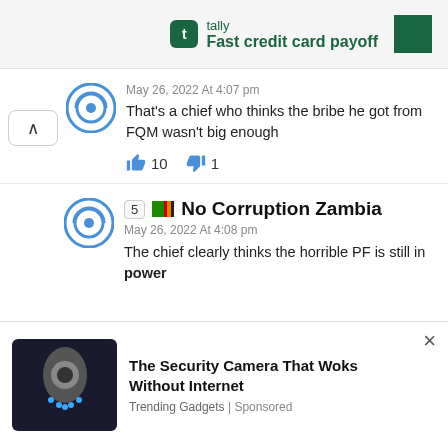[Figure (screenshot): Tally app advertisement banner with green logo and text 'Fast credit card payoff']
May 26, 2022 At 4:07 pm
That's a chief who thinks the bribe he got from FQM wasn't big enough
👍 10   👎 1
5 🇿🇲 No Corruption Zambia
May 26, 2022 At 4:08 pm
The chief clearly thinks the horrible PF is still in power
[Figure (screenshot): Advertisement: 'The Security Camera That Woks Without Internet' - Trending Gadgets | Sponsored, with security camera image]